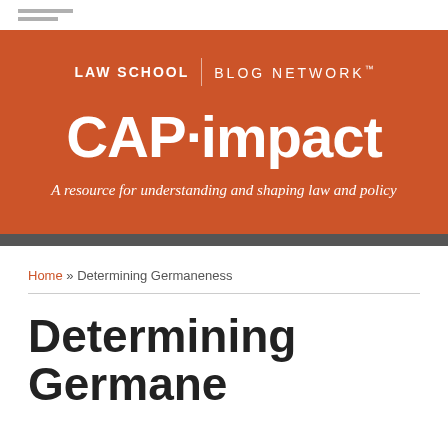[Figure (logo): Law School Blog Network / CAP·impact banner with orange background. Shows 'LAW SCHOOL | BLOG NETWORK™' header and large bold 'CAP·impact' title with italic tagline 'A resource for understanding and shaping law and policy']
Home » Determining Germaneness
Determining Germaneness